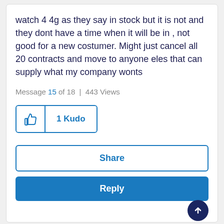watch 4 4g as they say in stock but it is not and they dont have a time when it will be in , not good for a new costumer. Might just cancel all 20 contracts and move to anyone eles that can supply what my company wonts
Message 15 of 18  |  443 Views
[Figure (other): 1 Kudo button with thumbs-up icon]
[Figure (other): Share button]
[Figure (other): Reply button]
[Figure (other): Scroll to top circular button]
Keithf